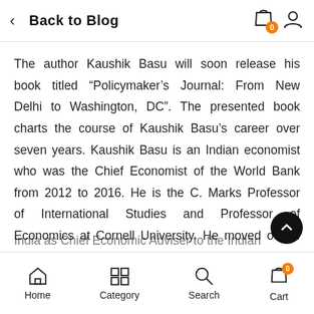Back to Blog
The author Kaushik Basu will soon release his book titled “Policymaker’s Journal: From New Delhi to Washington, DC”. The presented book charts the course of Kaushik Basu’s career over seven years. Kaushik Basu is an Indian economist who was the Chief Economist of the World Bank from 2012 to 2016. He is the C. Marks Professor of International Studies and Professor of Economics at Cornell University. He moved out of the cloisters of academe to the frenetic world of policymaking in India as Chief Economic Adviser to the Indian
Home  Category  Search  Cart